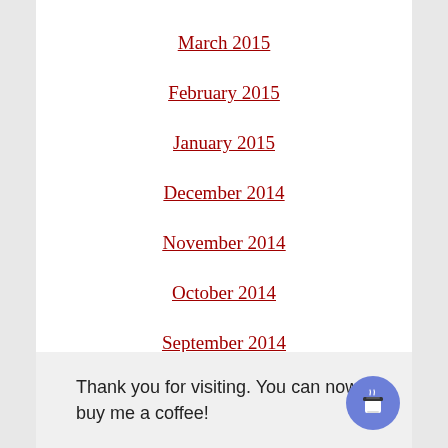March 2015
February 2015
January 2015
December 2014
November 2014
October 2014
September 2014
Thank you for visiting. You can now buy me a coffee!